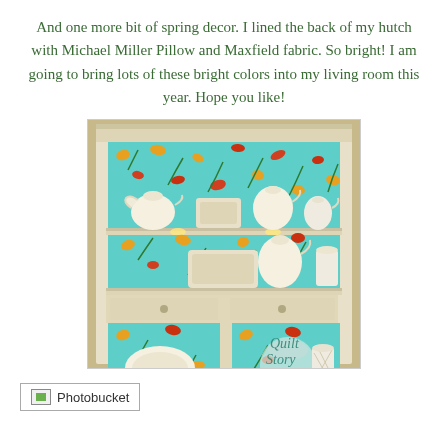And one more bit of spring decor. I lined the back of my hutch with Michael Miller Pillow and Maxfield fabric. So bright! I am going to bring lots of these bright colors into my living room this year. Hope you like!
[Figure (photo): A cream/white painted hutch with shelves lined with bright turquoise fabric featuring orange and red floral/botanical print (Michael Miller Pillow and Maxfield fabric). White dishes, pitchers, and decorative items are displayed on the shelves. The hutch has drawers and lower cabinet sections. A 'Quilt Story' watermark appears in the lower right corner.]
[Figure (photo): Photobucket placeholder image/link at the bottom left of the page, shown as a broken image icon with the text 'Photobucket'.]